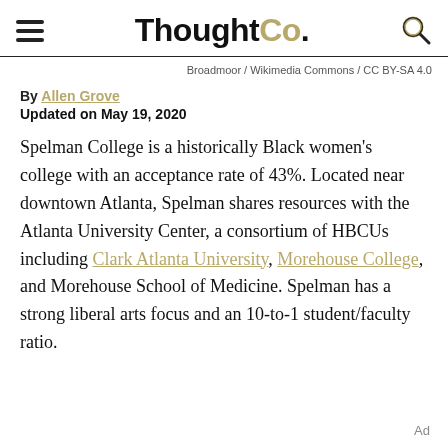ThoughtCo.
Broadmoor / Wikimedia Commons / CC BY-SA 4.0
By Allen Grove
Updated on May 19, 2020
Spelman College is a historically Black women's college with an acceptance rate of 43%. Located near downtown Atlanta, Spelman shares resources with the Atlanta University Center, a consortium of HBCUs including Clark Atlanta University, Morehouse College, and Morehouse School of Medicine. Spelman has a strong liberal arts focus and an 10-to-1 student/faculty ratio.
Ad